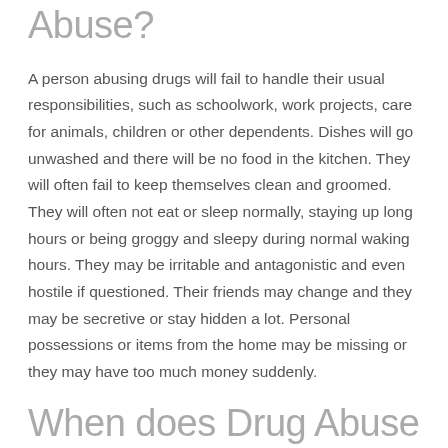Abuse?
A person abusing drugs will fail to handle their usual responsibilities, such as schoolwork, work projects, care for animals, children or other dependents. Dishes will go unwashed and there will be no food in the kitchen. They will often fail to keep themselves clean and groomed. They will often not eat or sleep normally, staying up long hours or being groggy and sleepy during normal waking hours. They may be irritable and antagonistic and even hostile if questioned. Their friends may change and they may be secretive or stay hidden a lot. Personal possessions or items from the home may be missing or they may have too much money suddenly.
When does Drug Abuse become an Addiction?